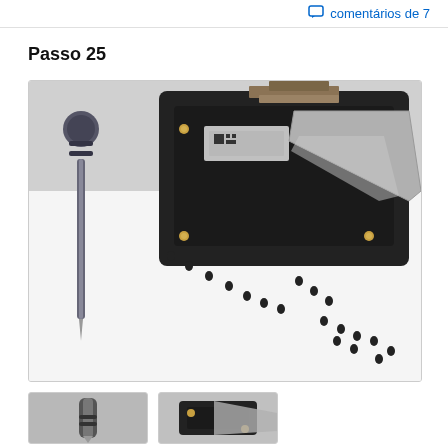comentários de 7
Passo 25
[Figure (photo): Disassembly repair step showing a tablet or smartphone component frame with screws removed and laid out on a white surface, next to a precision screwdriver/pentalobe tool. Multiple small black screws are scattered around the frame. A metal spudger or bracket is visible on the device frame.]
[Figure (photo): Thumbnail 1: close-up of screwdriver or tool tip]
[Figure (photo): Thumbnail 2: close-up of device component]